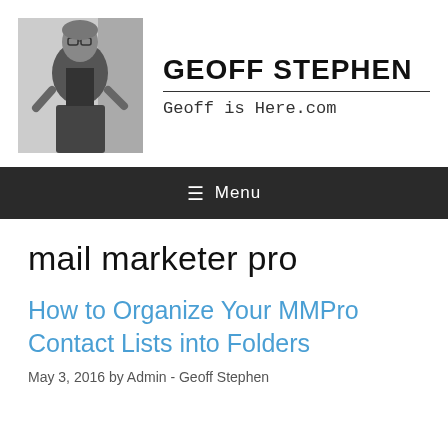[Figure (photo): Black and white photo of a man wearing glasses and a vest with a tie, gesturing with his hands]
GEOFF STEPHEN
Geoff is Here.com
☰ Menu
mail marketer pro
How to Organize Your MMPro Contact Lists into Folders
May 3, 2016 by Admin - Geoff Stephen